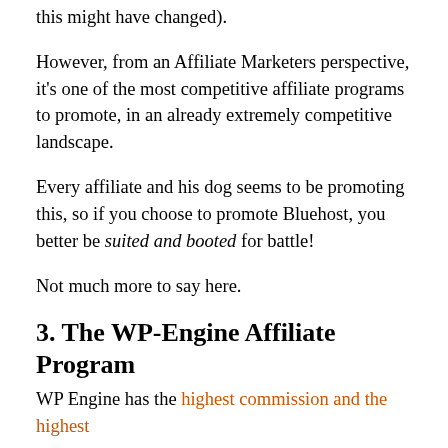this might have changed).
However, from an Affiliate Marketers perspective, it's one of the most competitive affiliate programs to promote, in an already extremely competitive landscape.
Every affiliate and his dog seems to be promoting this, so if you choose to promote Bluehost, you better be suited and booted for battle!
Not much more to say here.
3. The WP-Engine Affiliate Program
WP Engine has the highest commission and the highest